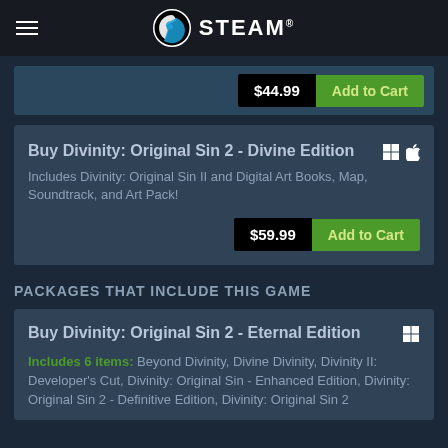STEAM
$44.99  Add to Cart
Buy Divinity: Original Sin 2 - Divine Edition
Includes Divinity: Original Sin II and Digital Art Books, Map, Soundtrack, and Art Pack!
$59.99  Add to Cart
PACKAGES THAT INCLUDE THIS GAME
Buy Divinity: Original Sin 2 - Eternal Edition
Includes 6 items: Beyond Divinity, Divine Divinity, Divinity II: Developer's Cut, Divinity: Original Sin - Enhanced Edition, Divinity: Original Sin 2 - Definitive Edition, Divinity: Original Sin 2 - Divine Ascension